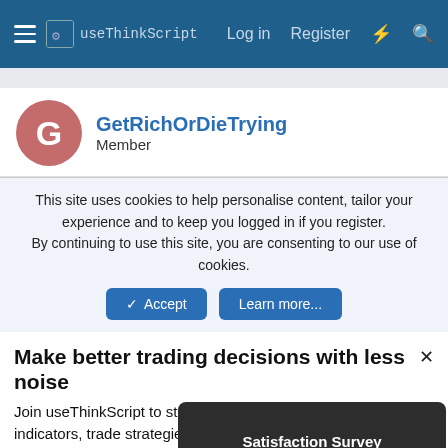useThinkScript  Log in  Register
GetRichOrDieTrying
Member
This site uses cookies to help personalise content, tailor your experience and to keep you logged in if you register.
By continuing to use this site, you are consenting to our use of cookies.
Accept  Learn more...
Make better trading decisions with less noise
Join useThinkScript to stay update to date on the latest indicators, trade strategies, and tips for thinkorswim
Satisfaction Survey
Reply